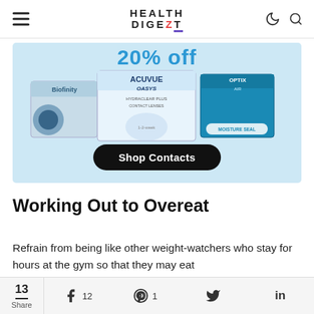HEALTH DIGEZT
[Figure (photo): Advertisement banner for contact lenses showing Biofinity, Acuvue Oasys, and Air Optix brand contact lens boxes on a light blue background with a 'Shop Contacts' button and text showing a discount at the top.]
Working Out to Overeat
Refrain from being like other weight-watchers who stay for hours at the gym so that they may eat
13 Share  12  1  (Twitter)  in